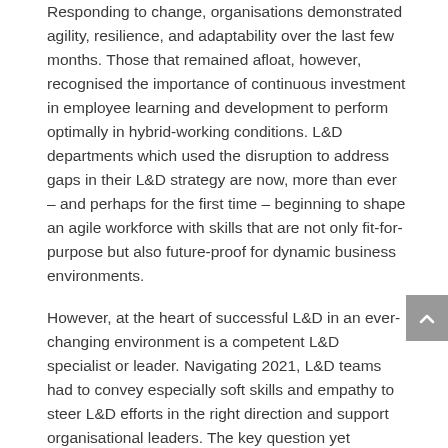Responding to change, organisations demonstrated agility, resilience, and adaptability over the last few months. Those that remained afloat, however, recognised the importance of continuous investment in employee learning and development to perform optimally in hybrid-working conditions. L&D departments which used the disruption to address gaps in their L&D strategy are now, more than ever – and perhaps for the first time – beginning to shape an agile workforce with skills that are not only fit-for-purpose but also future-proof for dynamic business environments.
However, at the heart of successful L&D in an ever-changing environment is a competent L&D specialist or leader. Navigating 2021, L&D teams had to convey especially soft skills and empathy to steer L&D efforts in the right direction and support organisational leaders. The key question yet remains: what skills does an L&D pro require to enable the learning and